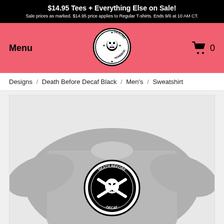$14.95 Tees + Everything Else on Sale! Sale prices as marked. $14.95 price applies to Regular T-shirts. Ends 9/6 at 10 AM CT.
[Figure (logo): Darling Homebody circular logo with skull in center]
Menu
0
Designs / Death Before Decaf Black / Men's / Sweatshirt
[Figure (photo): Gray crewneck sweatshirt with a Death Before Decaf black emblem/graphic on the chest — skull with crossed coffee equipment in a circular badge design]